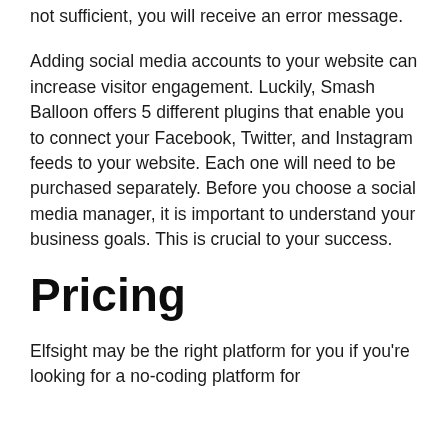not sufficient, you will receive an error message.
Adding social media accounts to your website can increase visitor engagement. Luckily, Smash Balloon offers 5 different plugins that enable you to connect your Facebook, Twitter, and Instagram feeds to your website. Each one will need to be purchased separately. Before you choose a social media manager, it is important to understand your business goals. This is crucial to your success.
Pricing
Elfsight may be the right platform for you if you're looking for a no-coding platform for